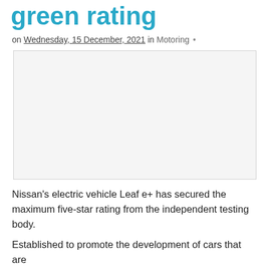green rating
on Wednesday, 15 December, 2021 in Motoring •
[Figure (photo): Empty image placeholder with light grey background and thin border]
Nissan's electric vehicle Leaf e+ has secured the maximum five-star rating from the independent testing body.
Established to promote the development of cars that are